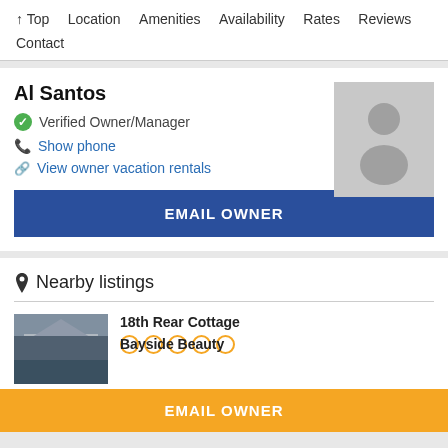↑ Top  Location  Amenities  Availability  Rates  Reviews  Contact
Al Santos
✔ Verified Owner/Manager
📞 Show phone
🔗 View owner vacation rentals
[Figure (illustration): Gray placeholder avatar silhouette]
EMAIL OWNER
Nearby listings
18th Rear Cottage
[Figure (photo): Thumbnail photo of 18th Rear Cottage property]
Bayside Beauty
[Figure (photo): Thumbnail photo of Bayside Beauty property]
EMAIL OWNER